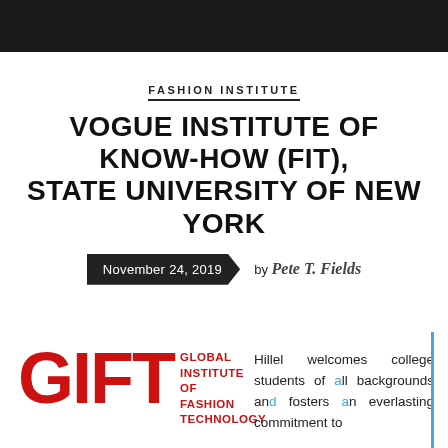FASHION INSTITUTE
VOGUE INSTITUTE OF KNOW-HOW (FIT), STATE UNIVERSITY OF NEW YORK
November 24, 2019  by Pete T. Fields
[Figure (logo): GIFT - Global Institute of Fashion Technology logo in red with large red GIFT letters]
Hillel welcomes college students of all backgrounds and fosters an everlasting commitment to